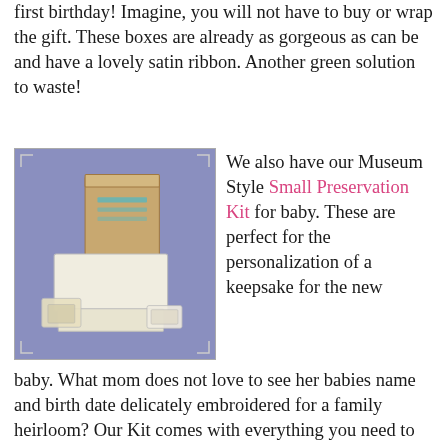first birthday!  Imagine, you will not have to buy or wrap the gift.  These boxes are already as gorgeous as can be and have a lovely satin ribbon. Another green solution to waste!
[Figure (photo): Photo of a Museum Style Small Preservation Kit — boxes and preservation items displayed on a purple/blue background, with decorative corner ornaments on the border.]
We also have our Museum Style Small Preservation Kit for baby.  These are perfect for the personalization of a keepsake for the new baby.  What mom does not love to see her babies name and birth date delicately embroidered for a family heirloom?  Our Kit comes with everything you need to store your items so your child can pass it on to their children.